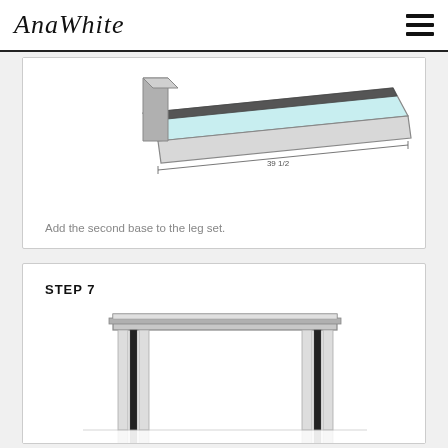AnaWhite
[Figure (engineering-diagram): 3D isometric view of a furniture base/shelf being added to a leg set, with dimension annotations showing 39 1/2 inches, rendered in a CAD-style illustration with light blue/teal tones.]
Add the second base to the leg set.
STEP 7
[Figure (engineering-diagram): Front-view engineering diagram of a table with a wide flat top and two sets of tapered legs, rendered in a CAD/SketchUp style with gray shading and a faint reflection below.]